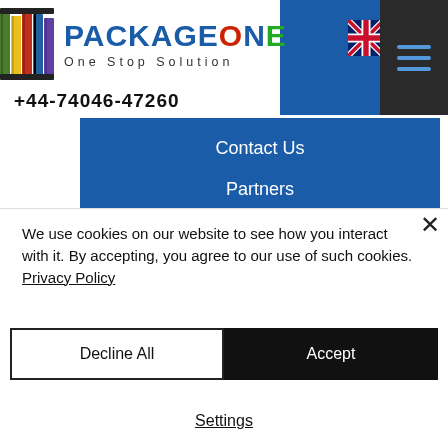PACKAGE ONE – One Stop Solution
+44-74046-47260
Contact Us
Partners
Location
Canada
India
Middle East
We use cookies on our website to see how you interact with it. By accepting, you agree to our use of such cookies. Privacy Policy
Decline All
Accept
Settings